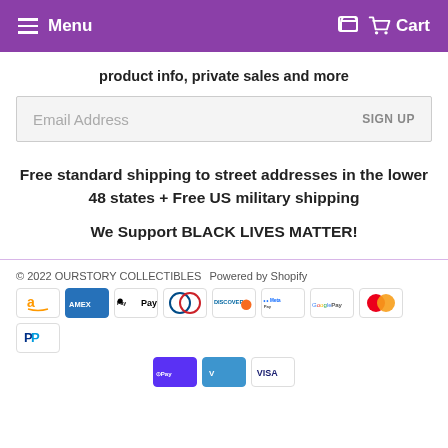Menu  Cart
product info, private sales and more
Email Address  SIGN UP
Free standard shipping to street addresses in the lower 48 states + Free US military shipping

We Support BLACK LIVES MATTER!
© 2022 OURSTORY COLLECTIBLES  Powered by Shopify
[Figure (other): Payment method icons: Amazon, Amex, Apple Pay, Diners Club, Discover, Meta Pay, Google Pay, Mastercard, PayPal, Shop Pay, Venmo, Visa]